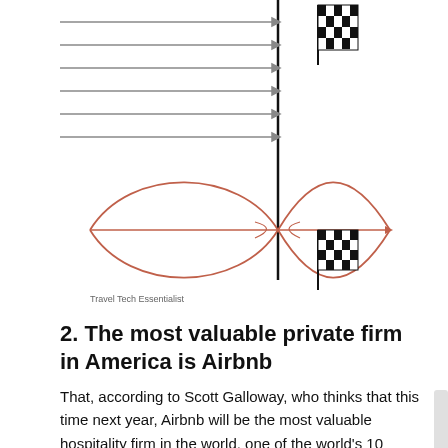[Figure (schematic): Two-part diagram: top section shows multiple horizontal grey arrows pointing right toward a vertical black line with a checkered racing flag to the upper right. Bottom section shows a lens/eye-shaped figure formed by salmon/orange curved lines converging and diverging around a vertical black line, with a checkered racing flag to the right. Represents convergence/funnel concept.]
Travel Tech Essentialist
2. The most valuable private firm in America is Airbnb
That, according to Scott Galloway, who thinks that this time next year, Airbnb will be the most valuable hospitality firm in the world, one of the world's 10 strongest brands and will likely be worth